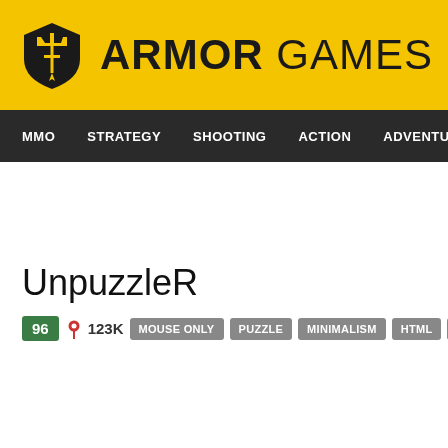ARMOR GAMES
MMO  STRATEGY  SHOOTING  ACTION  ADVENTURE  P
UnpuzzleR
96  123K  MOUSE ONLY  PUZZLE  MINIMALISM  HTML  PUZZLE-SKILL